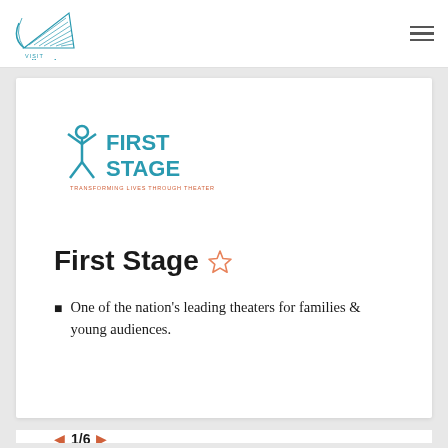[Figure (logo): Visit Milwaukee logo with stylized bird/wave graphic and teal 'VISIT Milwaukee' wordmark]
[Figure (logo): First Stage logo with teal stick figure and 'FIRST STAGE' text in teal, subtitle 'TRANSFORMING LIVES THROUGH THEATER' in orange]
First Stage ☆
■ One of the nation's leading theaters for families & young audiences.
◄ 1/6 ►
We use cookies to personalize content and ads, to provide